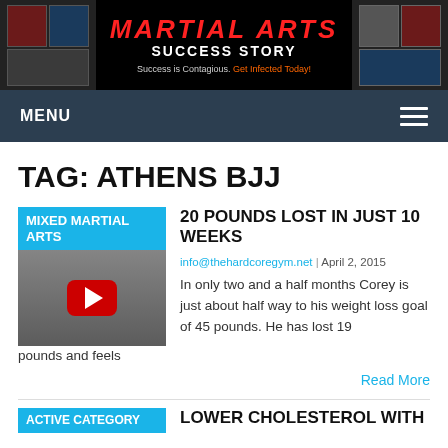[Figure (screenshot): Martial Arts Success Story website banner with red title text, photos of martial arts practitioners on left and right sides, tagline 'Success is Contagious. Get Infected Today!']
MENU
TAG: ATHENS BJJ
20 POUNDS LOST IN JUST 10 WEEKS
info@thehardcoregym.net | April 2, 2015
In only two and a half months Corey is just about half way to his weight loss goal of 45 pounds. He has lost 19 pounds and feels
Read More
LOWER CHOLESTEROL WITH